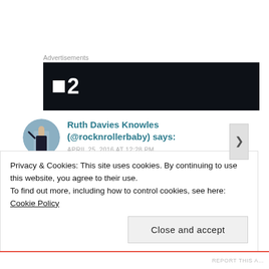Advertisements
[Figure (other): Dark advertisement banner with TV channel logo showing a small white square and the number 2]
Ruth Davies Knowles (@rocknrollerbaby) says:
APRIL 25, 2016 AT 12:28 PM
Love this, especially with the spray colours!
Brilliant for festival season! 🙂
Privacy & Cookies: This site uses cookies. By continuing to use this website, you agree to their use.
To find out more, including how to control cookies, see here: Cookie Policy
Close and accept